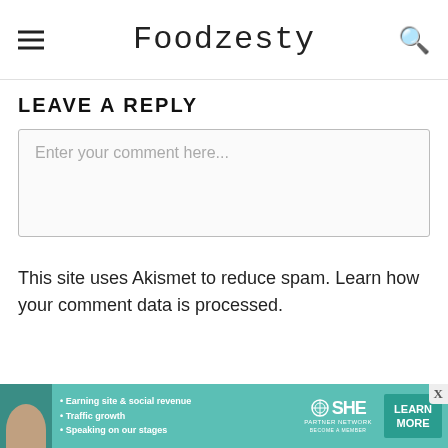Foodzesty
LEAVE A REPLY
Enter your comment here...
This site uses Akismet to reduce spam. Learn how your comment data is processed.
[Figure (infographic): SHE Partner Network advertisement banner with woman photo, bullet points: Earning site & social revenue, Traffic growth, Speaking on our stages; SHE logo and LEARN MORE button]